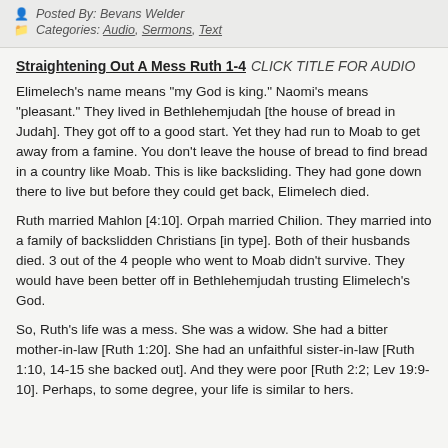Posted By: Bevans Welder
Categories: Audio, Sermons, Text
Straightening Out A Mess Ruth 1-4 CLICK TITLE FOR AUDIO
Elimelech's name means "my God is king." Naomi's means "pleasant." They lived in Bethlehemjudah [the house of bread in Judah]. They got off to a good start. Yet they had run to Moab to get away from a famine. You don't leave the house of bread to find bread in a country like Moab. This is like backsliding. They had gone down there to live but before they could get back, Elimelech died.
Ruth married Mahlon [4:10]. Orpah married Chilion. They married into a family of backslidden Christians [in type]. Both of their husbands died. 3 out of the 4 people who went to Moab didn't survive. They would have been better off in Bethlehemjudah trusting Elimelech's God.
So, Ruth's life was a mess. She was a widow. She had a bitter mother-in-law [Ruth 1:20]. She had an unfaithful sister-in-law [Ruth 1:10, 14-15 she backed out]. And they were poor [Ruth 2:2; Lev 19:9-10]. Perhaps, to some degree, your life is similar to hers.